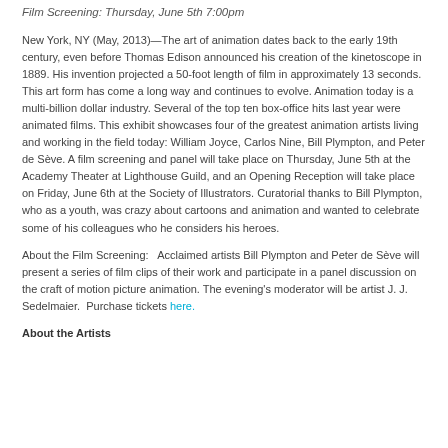Film Screening: Thursday, June 5th 7:00pm
New York, NY (May, 2013)—The art of animation dates back to the early 19th century, even before Thomas Edison announced his creation of the kinetoscope in 1889. His invention projected a 50-foot length of film in approximately 13 seconds. This art form has come a long way and continues to evolve. Animation today is a multi-billion dollar industry. Several of the top ten box-office hits last year were animated films. This exhibit showcases four of the greatest animation artists living and working in the field today: William Joyce, Carlos Nine, Bill Plympton, and Peter de Sève. A film screening and panel will take place on Thursday, June 5th at the Academy Theater at Lighthouse Guild, and an Opening Reception will take place on Friday, June 6th at the Society of Illustrators. Curatorial thanks to Bill Plympton, who as a youth, was crazy about cartoons and animation and wanted to celebrate some of his colleagues who he considers his heroes.
About the Film Screening:   Acclaimed artists Bill Plympton and Peter de Sève will present a series of film clips of their work and participate in a panel discussion on the craft of motion picture animation. The evening's moderator will be artist J. J. Sedelmaier.  Purchase tickets here.
About the Artists